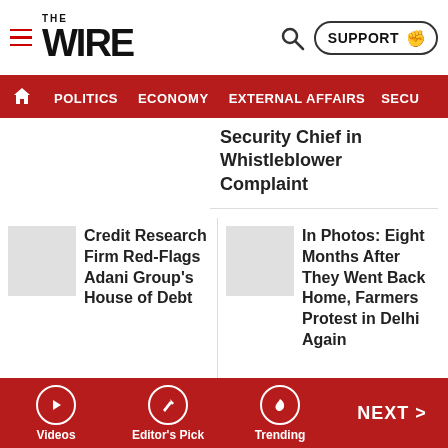THE WIRE
POLITICS  ECONOMY  EXTERNAL AFFAIRS  SECU...
Security Chief in Whistleblower Complaint
Credit Research Firm Red-Flags Adani Group's House of Debt
In Photos: Eight Months After They Went Back Home, Farmers Protest in Delhi Again
Hundreds of Farmers Arrive From Across India
As Freebie Debate Rages, What Defines
Videos  Editor's Pick  Trending  NEXT >